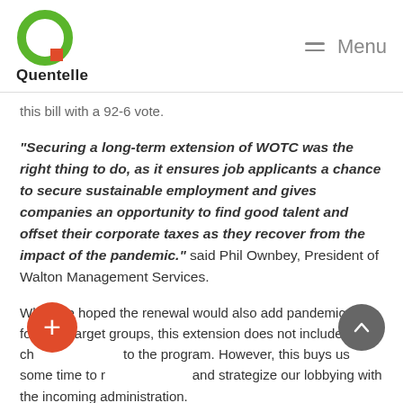Quentelle | Menu
this bill with a 92-6 vote.
“Securing a long-term extension of WOTC was the right thing to do, as it ensures job applicants a chance to secure sustainable employment and gives companies an opportunity to find good talent and offset their corporate taxes as they recover from the impact of the pandemic.” said Phil Ownbey, President of Walton Management Services.
While we hoped the renewal would also add pandemic-focused target groups, this extension does not include any changes to the program. However, this buys us some time to regroup and strategize our lobbying with the incoming administration.